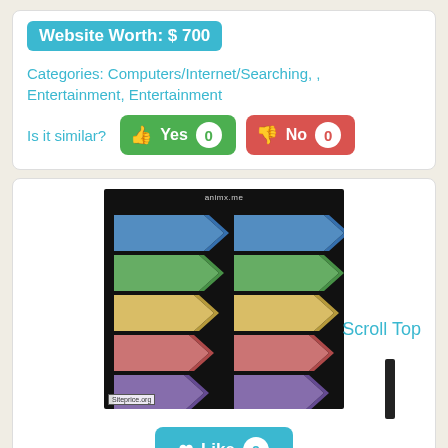Website Worth: $ 700
Categories: Computers/Internet/Searching, , Entertainment, Entertainment
Is it similar?
Yes 0
No 0
[Figure (screenshot): Screenshot of animx.me website showing colorful 3D arrow/chevron graphics on black background, with Siteprice.org watermark]
Scroll Top
Like 0